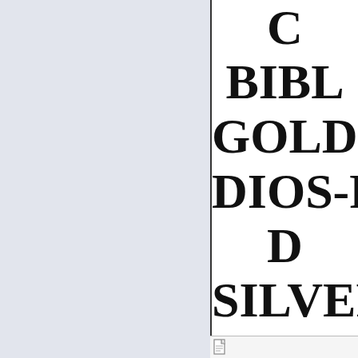[Figure (other): Left panel with light blue-grey background, approximately half the page width]
C BIBL GOLDE DIOS-PU D SILVER HOM PLA ARGE